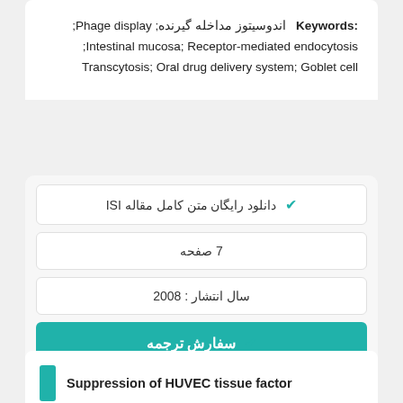Keywords: اندوسیتوز مداخله گیرنده; Phage display; Intestinal mucosa; Receptor-mediated endocytosis; Transcytosis; Oral drug delivery system; Goblet cell
✔ دانلود رایگان متن کامل مقاله ISI
7 صفحه
سال انتشار : 2008
✔ سفارش ترجمه
Suppression of HUVEC tissue factor